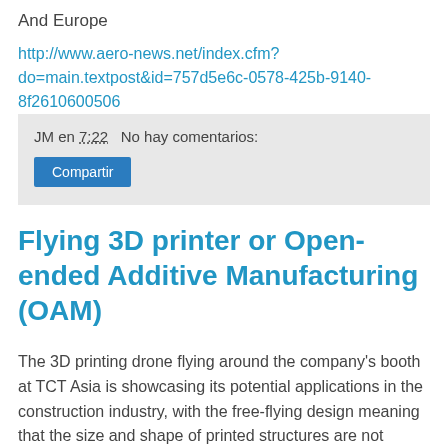And Europe
http://www.aero-news.net/index.cfm?do=main.textpost&id=757d5e6c-0578-425b-9140-8f2610600506
JM en 7:22   No hay comentarios:
Compartir
Flying 3D printer or Open-ended Additive Manufacturing (OAM)
The 3D printing drone flying around the company's booth at TCT Asia is showcasing its potential applications in the construction industry, with the free-flying design meaning that the size and shape of printed structures are not restricted by the dimensions of a static 3D printer's